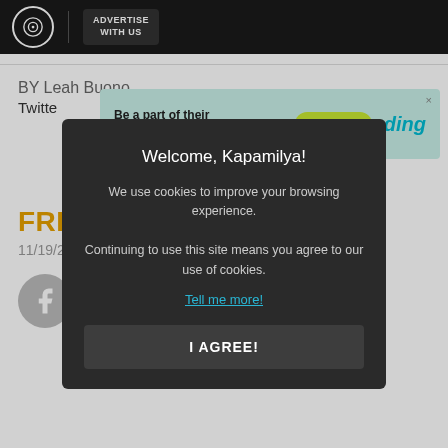ADVERTISE WITH US
[Figure (screenshot): Ad banner: 'Be a part of their back-to-school story' with 'Send load' button and 'ding' logo]
FRESH SCOOPS
11/19/2021 05:55 PM
BY Leah Bueno
Twitter
[Figure (screenshot): Facebook share icon (grey circle with F)]
Photo cre ... agram
[Figure (screenshot): Cookie consent modal: 'Welcome, Kapamilya! We use cookies to improve your browsing experience. Continuing to use this site means you agree to our use of cookies. Tell me more! I AGREE!']